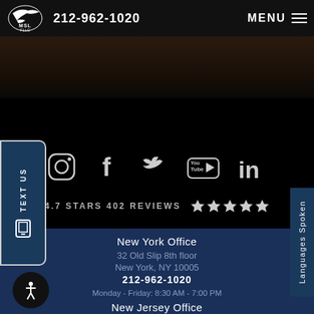MSL FLLC | 212-962-1020 | MENU
[Figure (screenshot): Dark background image area (partial photo, very dark)]
[Figure (infographic): Social media icons row: Instagram, Facebook, Twitter, YouTube, LinkedIn on black background; Rating: 4.7 STARS 402 REVIEWS with 5 stars]
4.7 STARS 402 REVIEWS
New York Office
32 Old Slip 8th floor
New York, NY 10005
212-962-1020
Monday - Friday: 8:30 AM - 7:00 PM
New Jersey Office